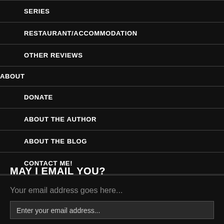SERIES
RESTAURANT/ACCOMMODATION
OTHER REVIEWS
ABOUT
DONATE
ABOUT THE AUTHOR
ABOUT THE BLOG
CONTACT ME!
MAY I EMAIL YOU?
Your email address goes here...
Enter your email address...